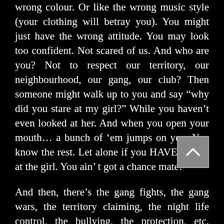wrong colour. Or like the wrong music style (your clothing will betray you). You might just have the wrong attitude. You may look too confident. Not scared of us. And who are you? Not to respect our territory, our neighbourhood, our gang, our club? Then someone might walk up to you and say “why did you stare at my girl?” While you haven’t even looked at her. And when you open your mouth… a bunch of ‘em jumps on you. You know the rest. Let alone if you HAVE looked at the girl. You ain’ t got a chance mate!
And then, there’s the gang fights, the gang wars, the territory claiming, the night life control, the bullying, the protection, etc. etc… and in here you